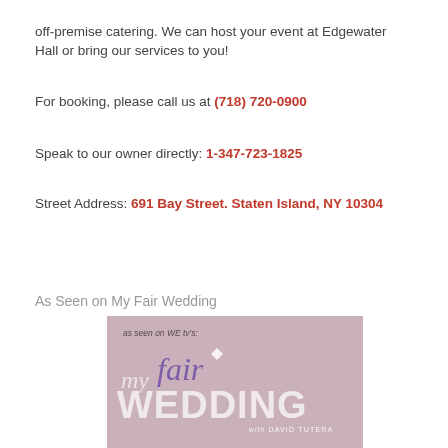off-premise catering. We can host your event at Edgewater Hall or bring our services to you!
For booking, please call us at (718) 720-0900
Speak to our owner directly: 1-347-723-1825
Street Address: 691 Bay Street. Staten Island, NY 10304
As Seen on My Fair Wedding
[Figure (logo): My Fair Wedding with David Tutera logo on mauve/pink background. Text reads 'as seen on WE tv's:' at top, then 'my fair WEDDING with DAVID TUTERA' in styled typography.]